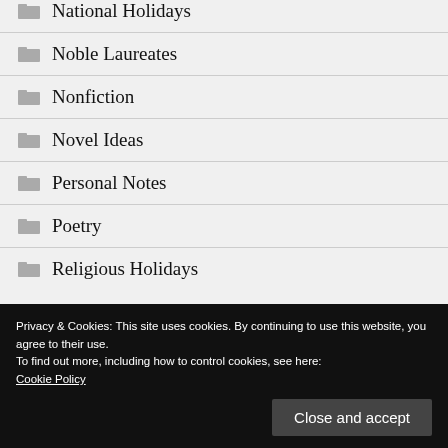National Holidays
Noble Laureates
Nonfiction
Novel Ideas
Personal Notes
Poetry
Religious Holidays
Privacy & Cookies: This site uses cookies. By continuing to use this website, you agree to their use. To find out more, including how to control cookies, see here: Cookie Policy
December 2021 (1)